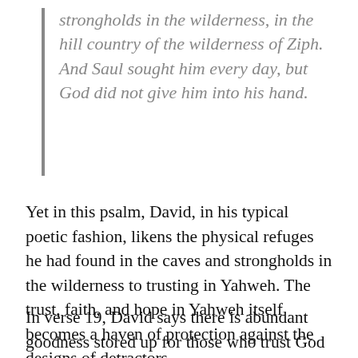strongholds in the wilderness, in the hill country of the wilderness of Ziph. And Saul sought him every day, but God did not give him into his hand.
Yet in this psalm, David, in his typical poetic fashion, likens the physical refuges he had found in the caves and strongholds in the wilderness to trusting in Yahweh. The trust, faith, and hope in Yahweh itself becomes a haven of protection against the designs of detractors.
In verse 19, David says there is abundant goodness stored up for those who trust God in the sight of others. Imagine what a blessing we